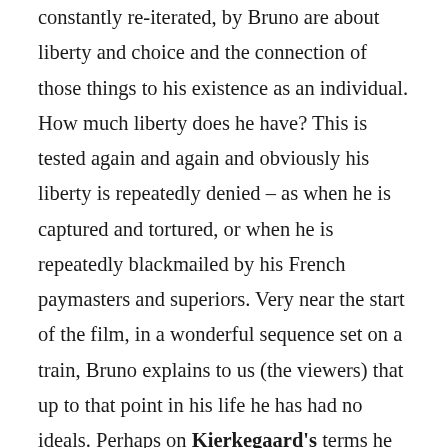constantly re-iterated, by Bruno are about liberty and choice and the connection of those things to his existence as an individual. How much liberty does he have? This is tested again and again and obviously his liberty is repeatedly denied – as when he is captured and tortured, or when he is repeatedly blackmailed by his French paymasters and superiors. Very near the start of the film, in a wonderful sequence set on a train, Bruno explains to us (the viewers) that up to that point in his life he has had no ideals. Perhaps on Kierkegaard's terms he has been living a purely aesthetic existence? Perhaps in Sartre's he has not really been making choices and has therefore not fully existed? The film could therefore be seen as his coming to life. All this is dramatised in lengthy conversations both interior (via the voice-over) and,